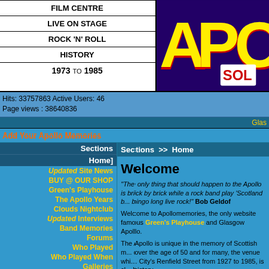| FILM CENTRE |
| LIVE ON STAGE |
| ROCK 'N' ROLL |
| HISTORY |
| 1973 TO 1985 |
[Figure (logo): APO logo in yellow and red text on dark purple/navy background with 'SOL' tag]
Hits: 33757863 Active Users: 46
Page views : 38640836
Glas
Add Your Apollo Memories
Sections
Home]
Updated Site News
BUY @ OUR SHOP
Green's Playhouse
The Apollo Years
Clouds Nightclub
Updated Interviews
Band Memories
Forums
Who Played
Who Played When
Galleries
Links
Musical/DVD/Book Info
The Musical
APOLLO MEMORIES
Updated Author's Update
Site Details
Sections >> Home
Welcome
"The only thing that should happen to the Apollo is brick by brick while a rock band play 'Scotland b... bingo long live rock!" Bob Geldof
Welcome to Apollomemories, the only website famous Green's Playhouse and Glasgow Apollo.
The Apollo is unique in the memory of Scottish m... over the age of 50 and for many, the venue whi... City's Renfield Street from 1927 to 1985, is cl... history.
The Apollo provided artists with the opportunity... most discerning and demanding audiences in th...